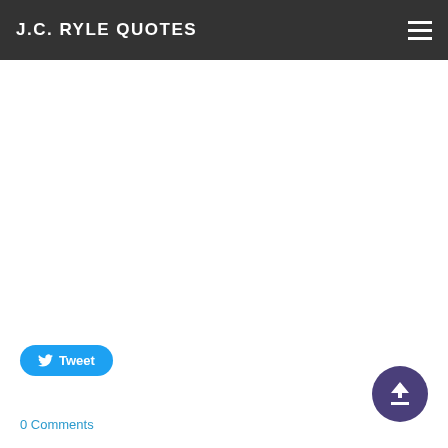J.C. RYLE QUOTES
Tweet
0 Comments